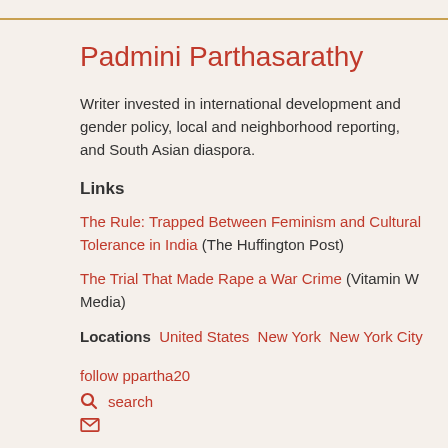Padmini Parthasarathy
Writer invested in international development and gender policy, local and neighborhood reporting, and South Asian diaspora.
Links
The Rule: Trapped Between Feminism and Cultural Tolerance in India (The Huffington Post)
The Trial That Made Rape a War Crime (Vitamin W Media)
Locations  United States  New York  New York City
follow ppartha20
search
email